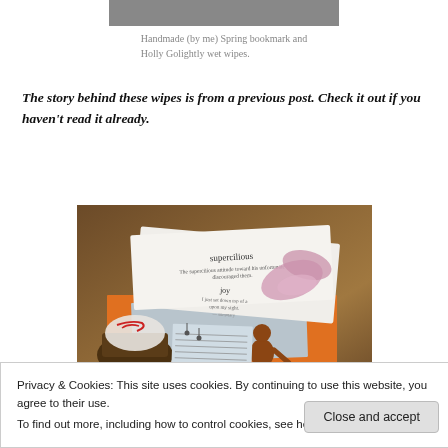[Figure (photo): Partial view of handmade Spring bookmark and Holly Golightly wet wipes on a surface]
Handmade (by me) Spring bookmark and Holly Golightly wet wipes.
The story behind these wipes is from a previous post. Check it out if you haven't read it already.
[Figure (photo): Photo of vocabulary flash cards (showing words 'supercilious' and 'joy'), a handmade bookmark, pink ribbon flower, and other craft items on a wooden surface]
Privacy & Cookies: This site uses cookies. By continuing to use this website, you agree to their use.
To find out more, including how to control cookies, see here: Cookie Policy
Close and accept